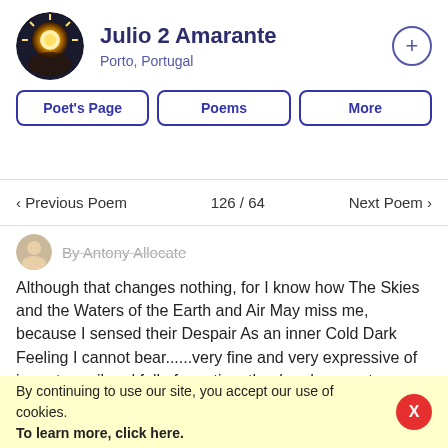Julio 2 Amarante
Porto, Portugal
Poet's Page | Poems | More
< Previous Poem   126 / 64   Next Poem >
Although that changes nothing, for I know how The Skies and the Waters of the Earth and Air May miss me, because I sensed their Despair As an inner Cold Dark Feeling I cannot bear......very fine and very expressive of inner turmoil and full of emotion. thank u dear poetess. tony
0   1   Reply
By continuing to use our site, you accept our use of cookies.
To learn more, click here.